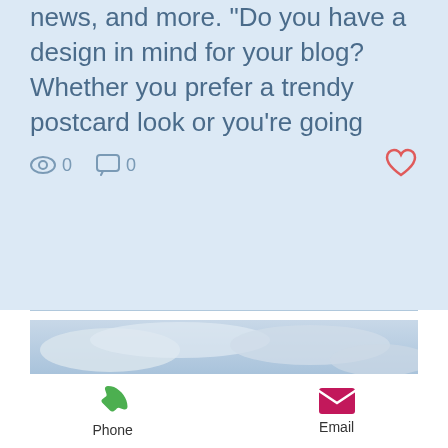news, and more. "Do you have a design in mind for your blog? Whether you prefer a trendy postcard look or you're going
[Figure (screenshot): Social media post actions bar with eye/views icon showing 0, comment icon showing 0, and a heart/like icon on the right]
[Figure (photo): Person standing with back to camera on a waterfront promenade, looking at mountains and cloudy sky over a blue lake]
Phone
Email